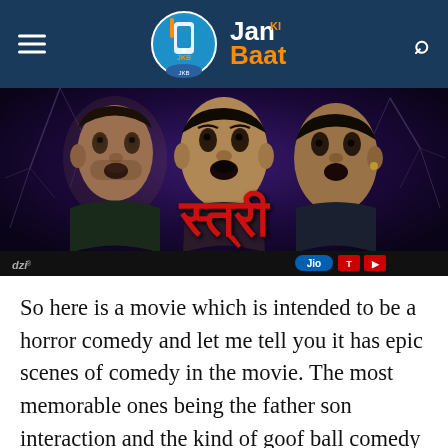Jan Ki Baat
[Figure (photo): Movie banner/poster for the Hindi horror-comedy film 'Stree' showing three male actors with shocked expressions against a dark cracked glass background with the film title in red Hindi script. Logos for dzi, Jio, T-Series and YouTube visible at bottom.]
So here is a movie which is intended to be a horror comedy and let me tell you it has epic scenes of comedy in the movie. The most memorable ones being the father son interaction and the kind of goof ball comedy that takes place between the three friends.